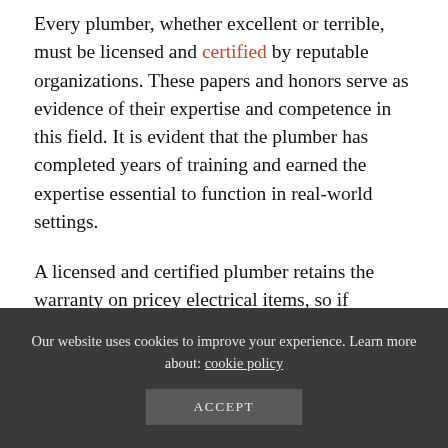Every plumber, whether excellent or terrible, must be licensed and certified by reputable organizations. These papers and honors serve as evidence of their expertise and competence in this field. It is evident that the plumber has completed years of training and earned the expertise essential to function in real-world settings.
A licensed and certified plumber retains the warranty on pricey electrical items, so if anything is destroyed on their watch, it will continue to be covered by the guarantee. Without the proper paperwork, plumbers will violate the warranty and cause thousands of dollars in damage.
Our website uses cookies to improve your experience. Learn more about: cookie policy
ACCEPT